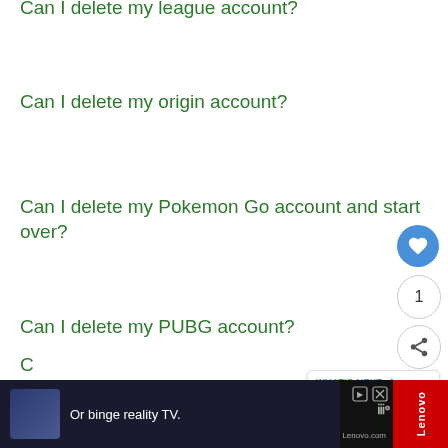Can I delete my league account?
Can I delete my origin account?
Can I delete my Pokemon Go account and start over?
Can I delete my PUBG account?
C...
[Figure (screenshot): Floating action buttons: heart/like button (blue circle), count '1', and share button]
[Figure (infographic): What's Next panel showing 'WHAT'S NEXT' header and 'How To Delete An Uber Eat...' thumbnail]
[Figure (screenshot): Bottom advertisement bar: 'Or binge reality TV.' text on dark background with Lenovo branding and red Lenovo sidebar]